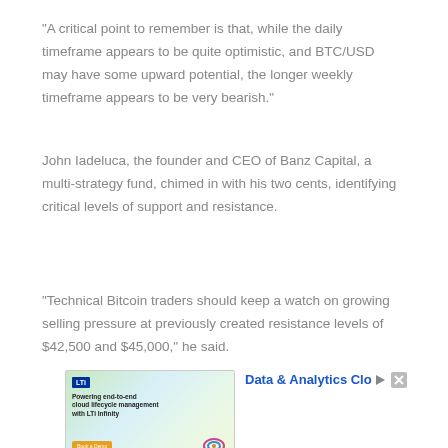“A critical point to remember is that, while the daily timeframe appears to be quite optimistic, and BTC/USD may have some upward potential, the longer weekly timeframe appears to be very bearish.”
John Iadeluca, the founder and CEO of Banz Capital, a multi-strategy fund, chimed in with his two cents, identifying critical levels of support and resistance.
“Technical Bitcoin traders should keep a watch on growing selling pressure at previously created resistance levels of $42,500 and $45,000,” he said.
[Figure (other): Advertisement banner for LTi Infinity cloud lifecycle management with text 'Data & Analytics Clou' and close/play controls]
Ad